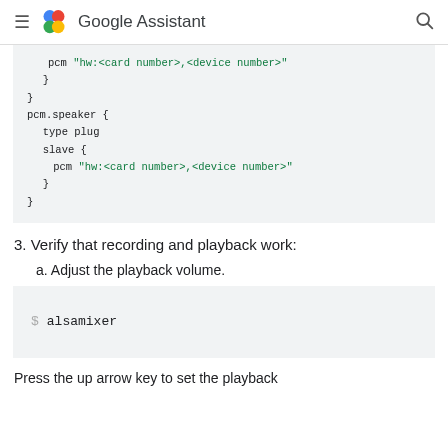Google Assistant
pcm "hw:<card number>,<device number>"
    }
}
pcm.speaker {
    type plug
    slave {
        pcm "hw:<card number>,<device number>"
    }
}
3. Verify that recording and playback work:
a. Adjust the playback volume.
$ alsamixer
Press the up arrow key to set the playback